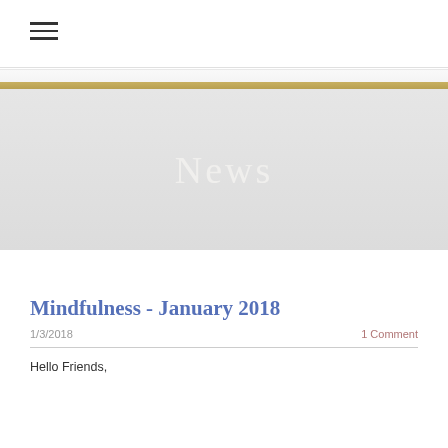≡
[Figure (illustration): Banner area with gold/tan horizontal stripe above a gray gradient background containing the word 'News' in large light serif font]
Mindfulness - January 2018
1/3/2018   1 Comment
Hello Friends,